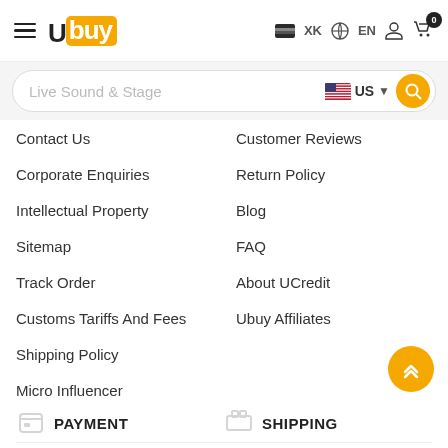[Figure (logo): Ubuy logo with hamburger menu icon]
[Figure (screenshot): Search bar with text 'Live Sound & Stage', US flag dropdown, and search button]
Contact Us
Customer Reviews
Corporate Enquiries
Return Policy
Intellectual Property
Blog
Sitemap
FAQ
Track Order
About UCredit
Customs Tariffs And Fees
Ubuy Affiliates
Shipping Policy
Micro Influencer
PAYMENT
SHIPPING